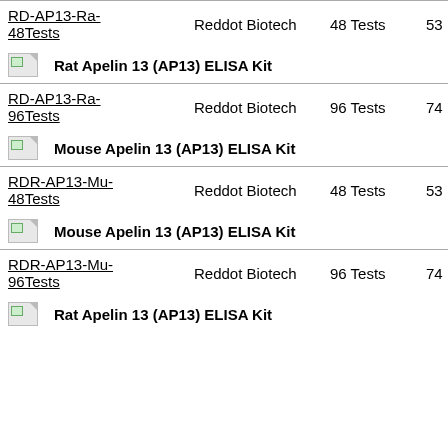| SKU | Brand | Size | Price |
| --- | --- | --- | --- |
| RD-AP13-Ra-48Tests | Reddot Biotech | 48 Tests | 53 |
| Rat Apelin 13 (AP13) ELISA Kit |  |  |  |
| RD-AP13-Ra-96Tests | Reddot Biotech | 96 Tests | 74 |
| Mouse Apelin 13 (AP13) ELISA Kit |  |  |  |
| RDR-AP13-Mu-48Tests | Reddot Biotech | 48 Tests | 53 |
| Mouse Apelin 13 (AP13) ELISA Kit |  |  |  |
| RDR-AP13-Mu-96Tests | Reddot Biotech | 96 Tests | 74 |
| Rat Apelin 13 (AP13) ELISA Kit |  |  |  |